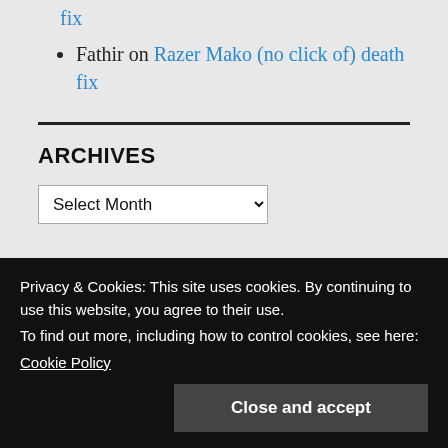fix (link)
Fathir on Razer Mako (no click of) death fix
ARCHIVES
Select Month (dropdown)
Privacy & Cookies: This site uses cookies. By continuing to use this website, you agree to their use.
To find out more, including how to control cookies, see here:
Cookie Policy
Close and accept